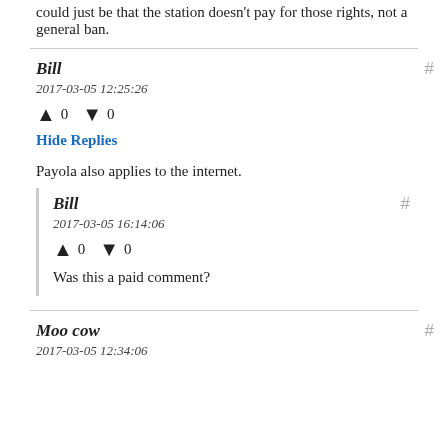could just be that the station doesn't pay for those rights, not a general ban.
Bill
2017-03-05 12:25:26
↑ 0 ↓ 0
Hide Replies
Payola also applies to the internet.
Bill
2017-03-05 16:14:06
↑ 0 ↓ 0
Was this a paid comment?
Moo cow
2017-03-05 12:34:06